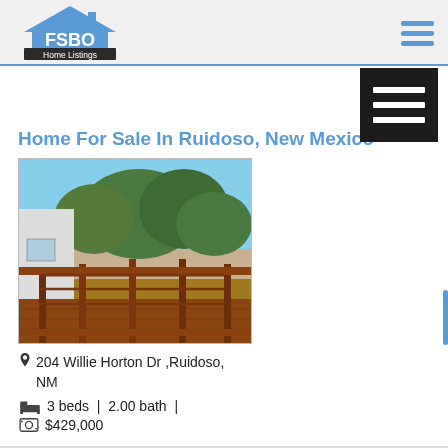FSBO Home Listings
Home For Sale In Ruidoso, New Mexico
[Figure (photo): Exterior photo of a home with a wooden deck/porch railing in the foreground and pine trees in the background, clear blue sky.]
204 Willie Horton Dr ,Ruidoso, NM
3 beds | 2.00 bath |
$429,000